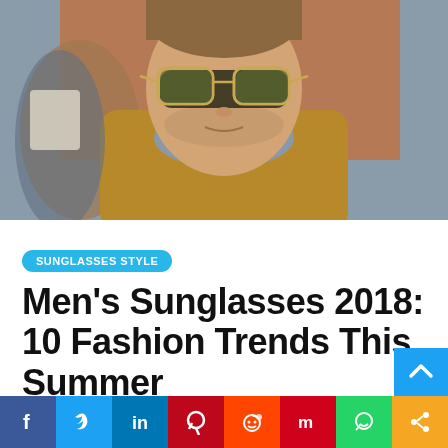[Figure (photo): A man wearing aviator sunglasses, a grey scarf and brown jacket, photographed outdoors. Another person is visible in the background holding something.]
SUNGLASSES STYLE
Men's Sunglasses 2018: 10 Fashion Trends This Summer
[Figure (infographic): Social media share bar with buttons for Facebook, Twitter, LinkedIn, Pinterest, Reddit, Mix, WhatsApp, and a share icon.]